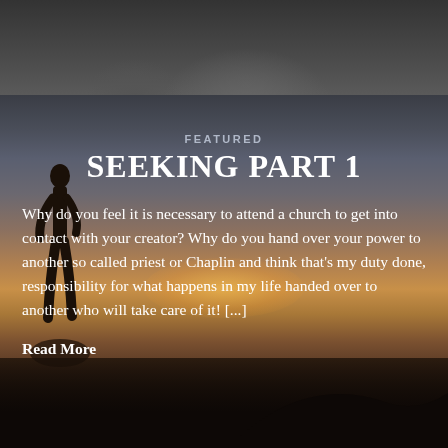[Figure (photo): Dark background image with a silhouette of a person standing on a rocky outcrop against a sunset sky with orange and golden glow on the horizon. The top portion shows a blurred dark abstract image.]
FEATURED
SEEKING PART 1
Why do you feel it is necessary to attend a church to get into contact with your creator? Why do you hand over your power to another so called priest or Chaplin and think that's my duty done, responsibility for what happens in my life handed over to another who will take care of it! [...]
Read More